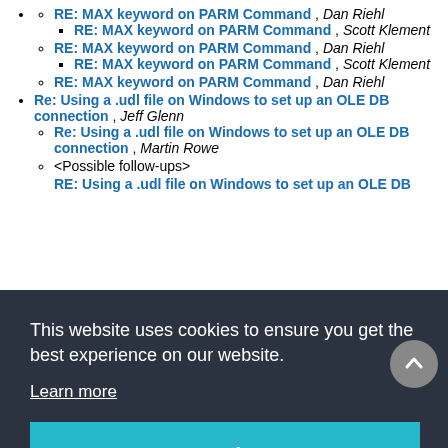RE: MAX keyword on PARM Command , Dan Riehl
RE: MAX keyword on PARM Command , Scott Klement
RE: MAX keyword on PARM Command , Dan Riehl
RE: MAX keyword on PARM Command , Scott Klement
RE: MAX keyword on PARM Command , Dan Riehl
Re: Using a .udl file on Windows to set up an OLE DB connection , Jeff Glenn
Re: Using a .udl file on Windows to set up an OLE DB connection , Martin Rowe
<Possible follow-ups>
RE: Using a .udl file on Windows to set up an OLE DB connection ...
This website uses cookies to ensure you get the best experience on our website. Learn more
Got it!
McLean
<Possible follow-ups>